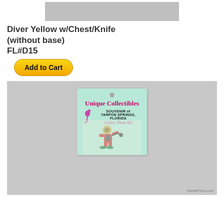[Figure (photo): Gray placeholder image at the top of the product listing page]
Diver Yellow w/Chest/Knife (without base)
FL#D15
Add to Cart
[Figure (photo): Product photo showing a small collectible diver figurine packaged in a clear plastic bag with a light blue Unique Collectibles header card reading: Unique Collectibles, SOUVENIR of TARPON SPRINGS, FLORIDA, Collect Them All! with a flamingo logo. The figurine appears to be a small diver in red suit.]